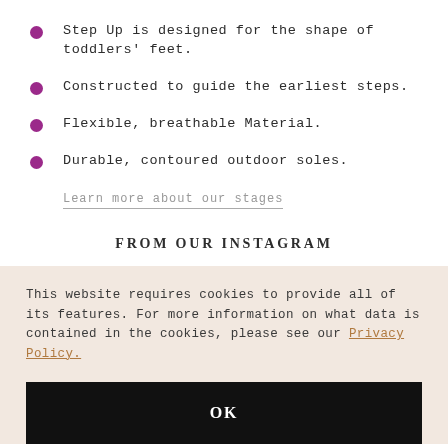Step Up is designed for the shape of toddlers' feet.
Constructed to guide the earliest steps.
Flexible, breathable Material.
Durable, contoured outdoor soles.
Learn more about our stages
FROM OUR INSTAGRAM
This website requires cookies to provide all of its features. For more information on what data is contained in the cookies, please see our Privacy Policy.
OK